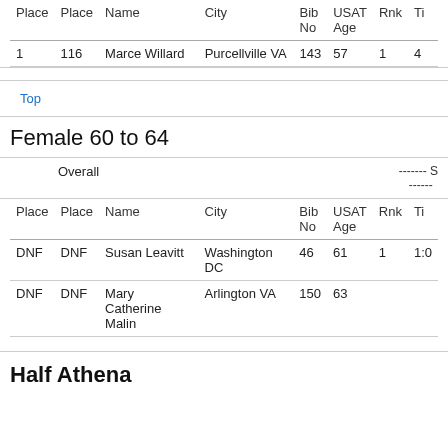| Place | Place | Name | City | Bib No | USAT Age | Rnk | Ti |
| --- | --- | --- | --- | --- | --- | --- | --- |
| 1 | 116 | Marce Willard | Purcellville VA | 143 | 57 | 1 | 4 |
Top
Female 60 to 64
| Place | Place | Name | City | Bib No | USAT Age | Rnk | Ti |
| --- | --- | --- | --- | --- | --- | --- | --- |
| DNF | DNF | Susan Leavitt | Washington DC | 46 | 61 | 1 | 1:0 |
| DNF | DNF | Mary Catherine Malin | Arlington VA | 150 | 63 |  |  |
Half Athena